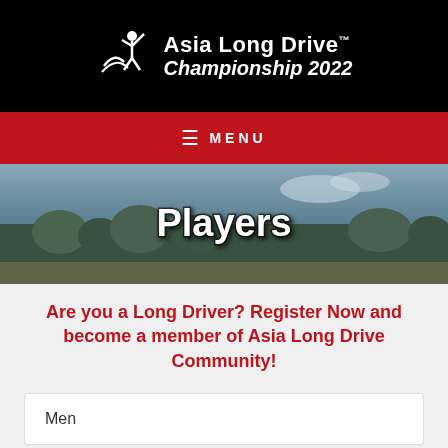ALD Asia Long Drive Championship 2022
MENU
Players
Are you a Long Driver? Register Now and become a member of Asia Long Drive Community!
Men
Women
Master(45+)